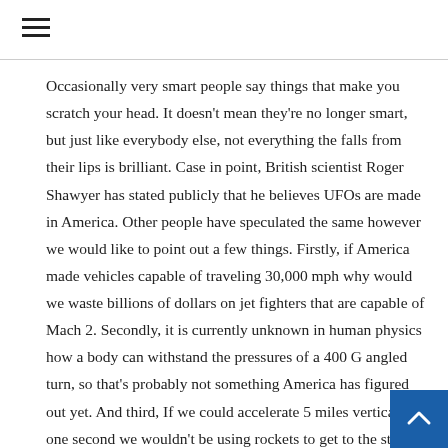≡
Occasionally very smart people say things that make you scratch your head. It doesn't mean they're no longer smart, but just like everybody else, not everything the falls from their lips is brilliant. Case in point, British scientist Roger Shawyer has stated publicly that he believes UFOs are made in America. Other people have speculated the same however we would like to point out a few things. Firstly, if America made vehicles capable of traveling 30,000 mph why would we waste billions of dollars on jet fighters that are capable of Mach 2. Secondly, it is currently unknown in human physics how a body can withstand the pressures of a 400 G angled turn, so that's probably not something America has figured out yet. And third, If we could accelerate 5 miles vertically in one second we wouldn't be using rockets to get to the station. Again, if we had those abilities our military and space program